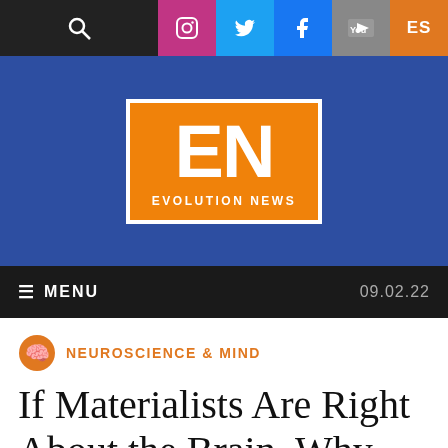[Figure (screenshot): Website navigation bar with search icon, Instagram, Twitter, Facebook, YouTube icons, and ES language toggle]
[Figure (logo): Evolution News logo: orange box with white 'EN' letters and 'EVOLUTION NEWS' text below]
≡ MENU   09.02.22
NEUROSCIENCE & MIND
If Materialists Are Right About the Brain, Why No "Morality Seizures"?